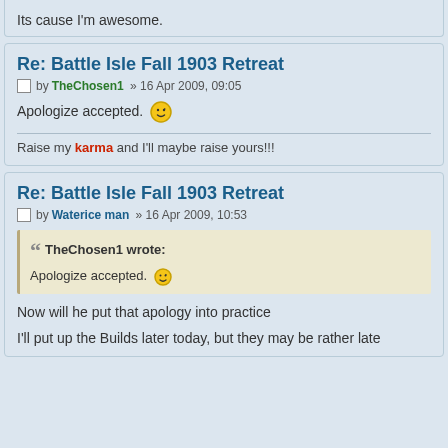Its cause I'm awesome.
Re: Battle Isle Fall 1903 Retreat
by TheChosen1 » 16 Apr 2009, 09:05
Apologize accepted. [wink smiley]
Raise my karma and I'll maybe raise yours!!!
Re: Battle Isle Fall 1903 Retreat
by Waterice man » 16 Apr 2009, 10:53
TheChosen1 wrote: Apologize accepted. [wink smiley]
Now will he put that apology into practice
I'll put up the Builds later today, but they may be rather late